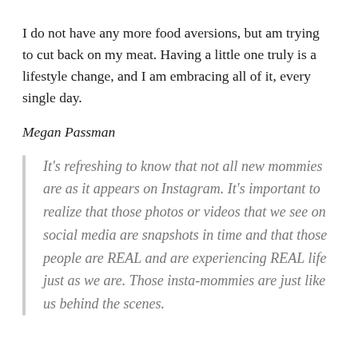I do not have any more food aversions, but am trying to cut back on my meat. Having a little one truly is a lifestyle change, and I am embracing all of it, every single day.
Megan Passman
It’s refreshing to know that not all new mommies are as it appears on Instagram. It’s important to realize that those photos or videos that we see on social media are snapshots in time and that those people are REAL and are experiencing REAL life just as we are. Those insta-mommies are just like us behind the scenes.